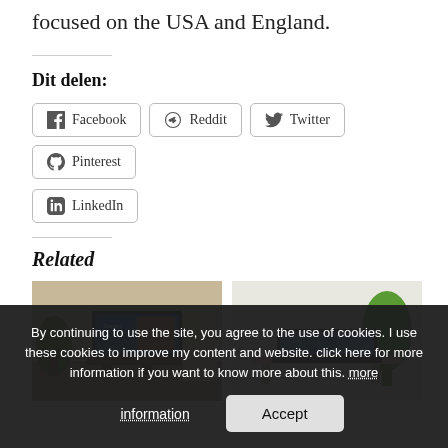focused on the USA and England.
Dit delen:
Facebook  Reddit  Twitter  Pinterest  LinkedIn
Related
[Figure (photo): A television on a wooden stand displaying the Disney+ interface with characters, in a living room setting.]
[Figure (photo): A laptop on a desk with a plant behind it showing a video, in a bright room.]
By continuing to use the site, you agree to the use of cookies. I use these cookies to improve my content and website. click here for more information if you want to know more about this. more information  Accept